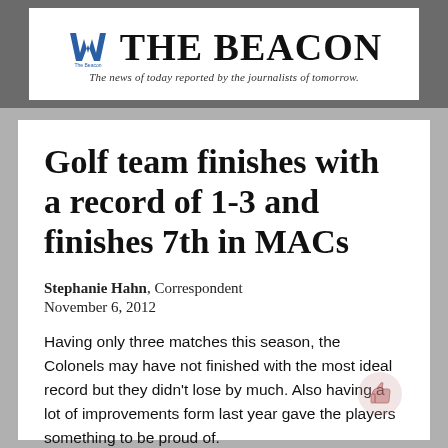THE BEACON — The news of today reported by the journalists of tomorrow.
Golf team finishes with a record of 1-3 and finishes 7th in MACs
Stephanie Hahn, Correspondent
November 6, 2012
Having only three matches this season, the Colonels may have not finished with the most ideal record but they didn't lose by much. Also having a lot of improvements form last year gave the players something to be proud of.